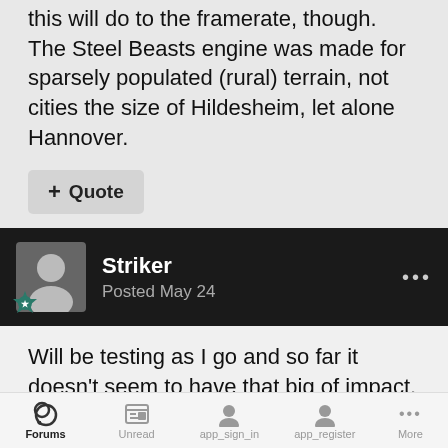this will do to the framerate, though. The Steel Beasts engine was made for sparsely populated (rural) terrain, not cities the size of Hildesheim, let alone Hannover.
+ Quote
Striker
Posted May 24
Will be testing as I go and so far it doesn't seem to have that big of impact. I can also thin it out a little as necessary. I'm not certain that people will be using the high density areas but you never know.
Forums  Unread  app_sign_in  app_register  More